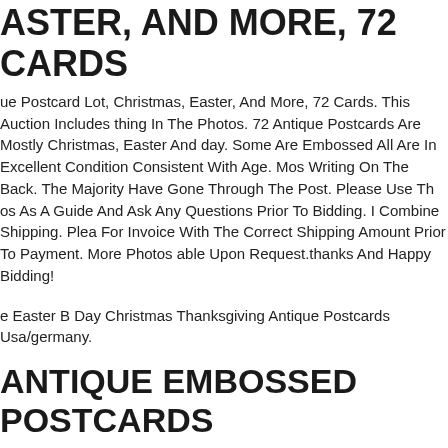ASTER, AND MORE, 72 CARDS
ue Postcard Lot, Christmas, Easter, And More, 72 Cards. This Auction Includes thing In The Photos. 72 Antique Postcards Are Mostly Christmas, Easter And day. Some Are Embossed All Are In Excellent Condition Consistent With Age. Mos Writing On The Back. The Majority Have Gone Through The Post. Please Use Th os As A Guide And Ask Any Questions Prior To Bidding. I Combine Shipping. Plea For Invoice With The Correct Shipping Amount Prior To Payment. More Photos able Upon Request.thanks And Happy Bidding!
e Easter B Day Christmas Thanksgiving Antique Postcards Usa/germany.
ANTIQUE EMBOSSED POSTCARDS ARLY 1910'S - THANKSGIVING ATRIOTIC TURKEY EASTER
In Photos May Not Exactly Match Physical Item Due To Image Rendering rences.
0 Antique Lot Of 4 Holiday Postcards Signed Clapsaddle Gar Patriotic Easter. As red.